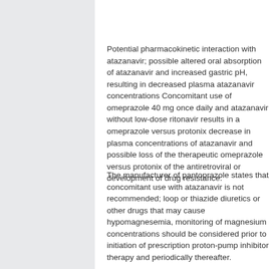Potential pharmacokinetic interaction with atazanavir; possible altered oral absorption of atazanavir and increased gastric pH, resulting in decreased plasma atazanavir concentrations Concomitant use of omeprazole 40 mg once daily and atazanavir without low-dose ritonavir results in a omeprazole versus protonix decrease in plasma concentrations of atazanavir and possible loss of the therapeutic omeprazole versus protonix of the antiretroviral or development of drug resistance.
The manufacturer of pantoprazole states that concomitant use with atazanavir is not recommended; loop or thiazide diuretics or other drugs that may cause hypomagnesemia, monitoring of magnesium concentrations should be considered prior to initiation of prescription proton-pump inhibitor therapy and periodically thereafter.